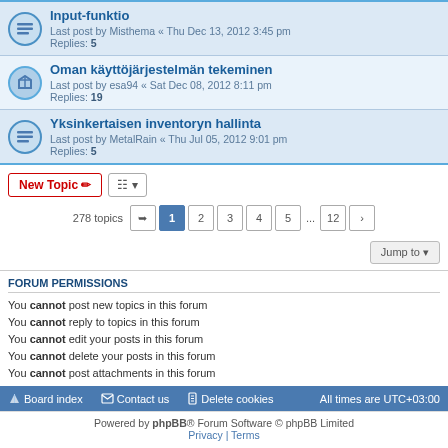Input-funktio
Last post by Misthema « Thu Dec 13, 2012 3:45 pm
Replies: 5
Oman käyttöjärjestelmän tekeminen
Last post by esa94 « Sat Dec 08, 2012 8:11 pm
Replies: 19
Yksinkertaisen inventoryn hallinta
Last post by MetalRain « Thu Jul 05, 2012 9:01 pm
Replies: 5
New Topic | Sort | 278 topics | 1 2 3 4 5 ... 12 > | Jump to
FORUM PERMISSIONS
You cannot post new topics in this forum
You cannot reply to topics in this forum
You cannot edit your posts in this forum
You cannot delete your posts in this forum
You cannot post attachments in this forum
Board index | Contact us | Delete cookies | All times are UTC+03:00
Powered by phpBB® Forum Software © phpBB Limited
Privacy | Terms